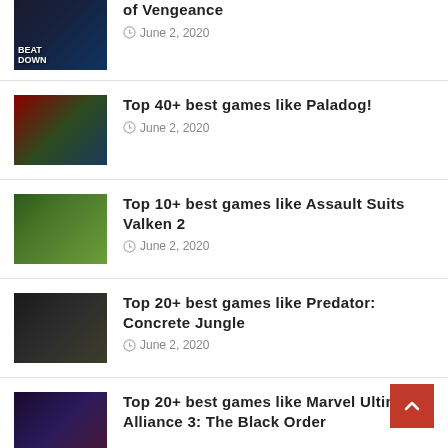of Vengeance — June 2, 2020
Top 40+ best games like Paladog! — June 2, 2020
Top 10+ best games like Assault Suits Valken 2 — June 2, 2020
Top 20+ best games like Predator: Concrete Jungle — June 2, 2020
Top 20+ best games like Marvel Ultimate Alliance 3: The Black Order